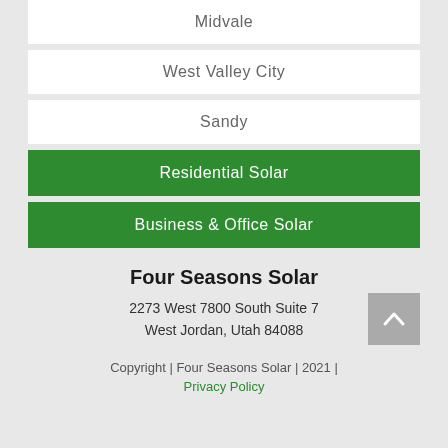Midvale
West Valley City
Sandy
Residential Solar
Business & Office Solar
Four Seasons Solar
2273 West 7800 South Suite 7
West Jordan, Utah 84088
Copyright | Four Seasons Solar | 2021 | Privacy Policy